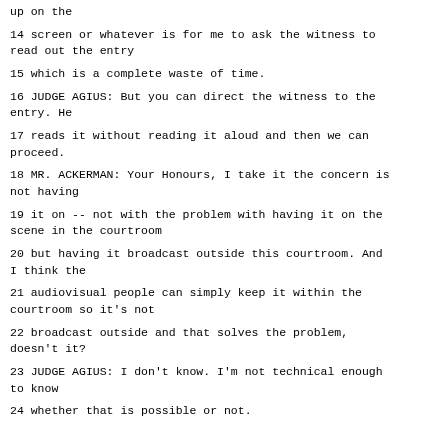up on the
14 screen or whatever is for me to ask the witness to read out the entry
15 which is a complete waste of time.
16 JUDGE AGIUS: But you can direct the witness to the entry. He
17 reads it without reading it aloud and then we can proceed.
18 MR. ACKERMAN: Your Honours, I take it the concern is not having
19 it on -- not with the problem with having it on the scene in the courtroom
20 but having it broadcast outside this courtroom. And I think the
21 audiovisual people can simply keep it within the courtroom so it's not
22 broadcast outside and that solves the problem, doesn't it?
23 JUDGE AGIUS: I don't know. I'm not technical enough to know
24 whether that is possible or not.